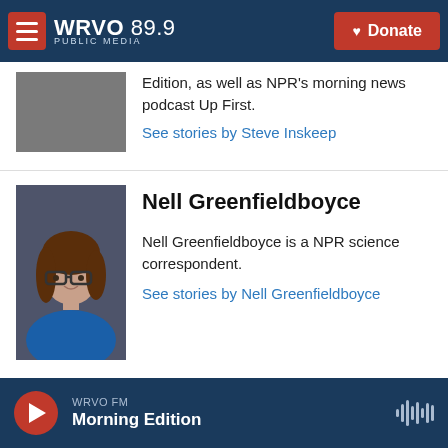WRVO PUBLIC MEDIA 89.9 | Donate
Edition, as well as NPR's morning news podcast Up First.
See stories by Steve Inskeep
Nell Greenfieldboyce
Nell Greenfieldboyce is a NPR science correspondent.
See stories by Nell Greenfieldboyce
WRVO FM Morning Edition